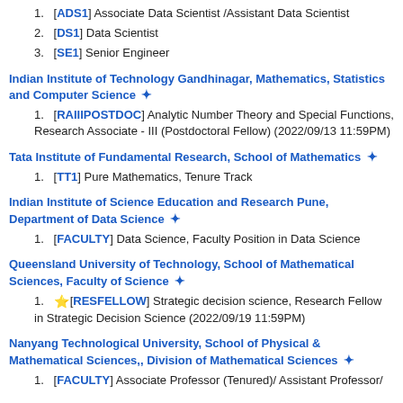1. [ADS1] Associate Data Scientist /Assistant Data Scientist
2. [DS1] Data Scientist
3. [SE1] Senior Engineer
Indian Institute of Technology Gandhinagar, Mathematics, Statistics and Computer Science ✦
1. [RAIIIPOSTDOC] Analytic Number Theory and Special Functions, Research Associate - III (Postdoctoral Fellow) (2022/09/13 11:59PM)
Tata Institute of Fundamental Research, School of Mathematics ✦
1. [TT1] Pure Mathematics, Tenure Track
Indian Institute of Science Education and Research Pune, Department of Data Science ✦
1. [FACULTY] Data Science, Faculty Position in Data Science
Queensland University of Technology, School of Mathematical Sciences, Faculty of Science ✦
1. ★[RESFELLOW] Strategic decision science, Research Fellow in Strategic Decision Science (2022/09/19 11:59PM)
Nanyang Technological University, School of Physical & Mathematical Sciences,, Division of Mathematical Sciences ✦
1. [FACULTY] Associate Professor (Tenured)/ Assistant Professor/